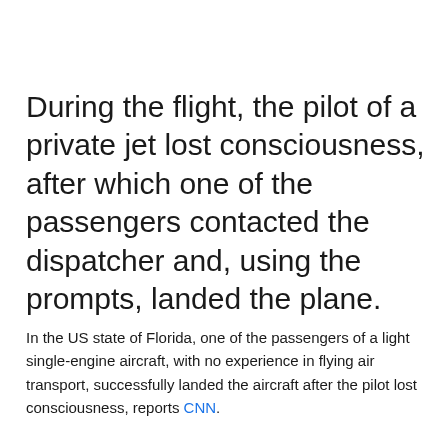During the flight, the pilot of a private jet lost consciousness, after which one of the passengers contacted the dispatcher and, using the prompts, landed the plane.
In the US state of Florida, one of the passengers of a light single-engine aircraft, with no experience in flying air transport, successfully landed the aircraft after the pilot lost consciousness, reports CNN.